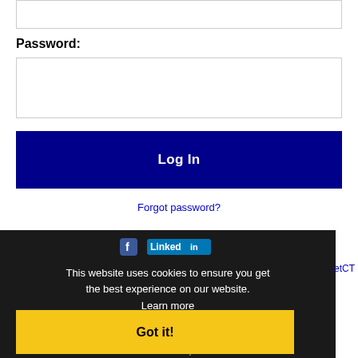[Figure (screenshot): Partially visible text input field at top of page]
Password:
[Figure (screenshot): Password input field, empty, with border]
Log In
Forgot password?
[Figure (screenshot): LinkedIn logo partially visible behind cookie consent overlay]
This website uses cookies to ensure you get the best experience on our website.
Get the latest Co...s by following @rec...etCT on Twitter!
Learn more
New  RSS job feeds
Got it!